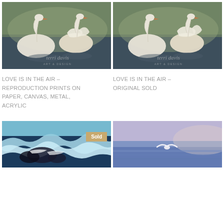[Figure (illustration): Painting of two white swans on water with watermark 'terri davis ART & DESIGN']
[Figure (illustration): Painting of two white swans on water with watermark 'terri davis ART & DESIGN']
LOVE IS IN THE AIR – REPRODUCTION PRINTS ON PAPER, CANVAS, METAL, ACRYLIC
LOVE IS IN THE AIR – ORIGINAL SOLD
[Figure (illustration): Painting of ocean waves with rocks, with a 'Sold' badge overlay]
[Figure (illustration): Painting of a seagull or bird flying over blue-purple ocean]